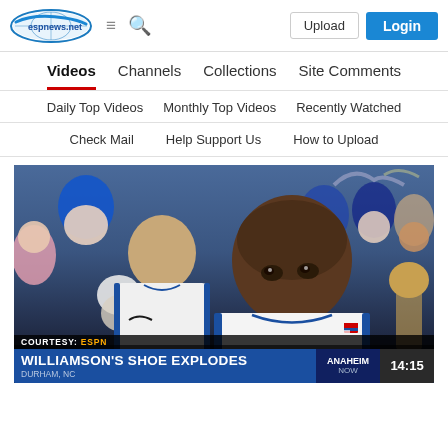ESPNews.net logo, hamburger menu, search icon, Upload button, Login button
Videos | Channels | Collections | Site Comments
Daily Top Videos | Monthly Top Videos | Recently Watched
Check Mail | Help Support Us | How to Upload
[Figure (photo): Video thumbnail showing two Duke basketball players in white uniforms with blue trim, with a crowd in the background. Lower third overlay reads: COURTESY: ESPN / WILLIAMSON'S SHOE EXPLODES / DURHAM, NC with ANAHEIM / NOW and time 14:15 shown on the right.]